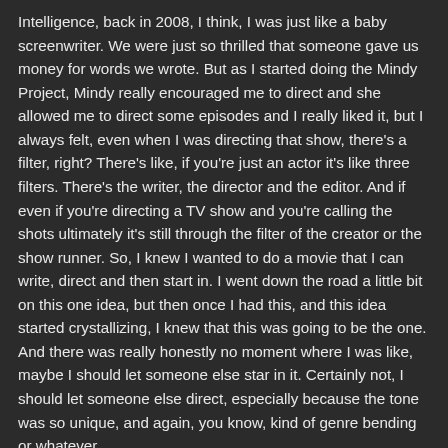Intelligence, back in 2008, I think, I was just like a baby screenwriter. We were just so thrilled that someone gave us money for words we wrote. But as I started doing the Mindy Project, Mindy really encouraged me to direct and she allowed me to direct some episodes and I really liked it, but I always felt, even when I was directing that show, there's a filter, right? There's like, if you're just an actor it's like three filters. There's the writer, the director and the editor. And if even if you're directing a TV show and you're calling the shots ultimately it's still through the filter of the creator or the show runner. So, I knew I wanted to do a movie that I can write, direct and then start in. I went down the road a little bit on this one idea, but then once I had this, and this idea started crystallizing, I knew that this was going to be the one. And there was really honestly no moment where I was like, maybe I should let someone else star in it. Certainly not, I should let someone else direct, especially because the tone was so unique, and again, you know, kind of genre bending or whatever.